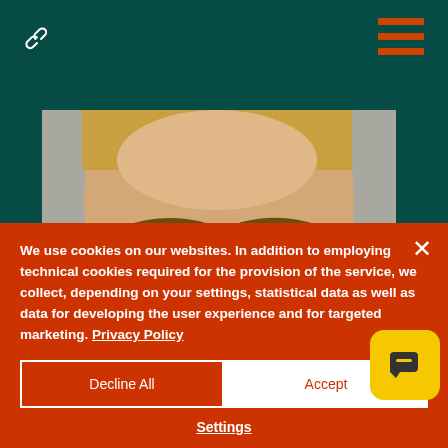[Figure (screenshot): Dark teal website background with navigation icons (link icon top-left, orange hamburger menu top-right) and a cropped photo of a blonde woman's face/forehead area in the center.]
We use cookies on our websites. In addition to employing technical cookies required for the provision of the service, we collect, depending on your settings, statistical data as well as data for developing the user experience and for targeted marketing. Privacy Policy
Decline All
Accept
Settings